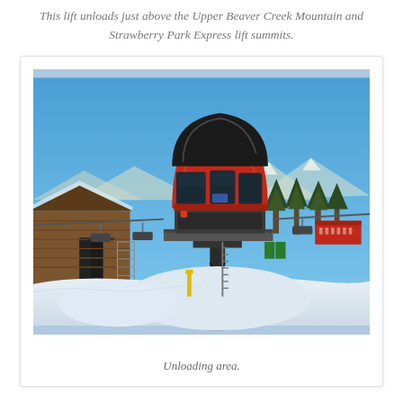This lift unloads just above the Upper Beaver Creek Mountain and Strawberry Park Express lift summits.
[Figure (photo): Photograph of a ski lift unloading area in winter. A large red gondola/chairlift terminal sits atop a steel tower in the foreground with bright blue sky behind it. Snow-covered ground fills the bottom of the image. A wooden building is visible to the left, ski lifts and chairlifts hang in the background, and forested snow-covered mountains are visible in the distance. A red building/sign is visible at center-right background.]
Unloading area.